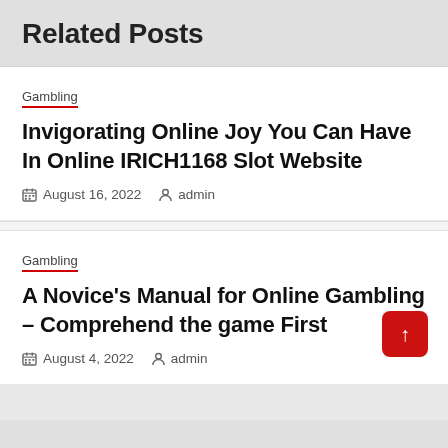Related Posts
Gambling
Invigorating Online Joy You Can Have In Online IRICH1168 Slot Website
August 16, 2022  admin
Gambling
A Novice's Manual for Online Gambling – Comprehend the game First
August 4, 2022  admin